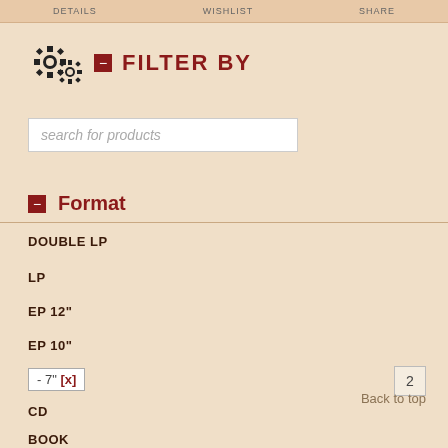DETAILS   WISHLIST   SHARE
FILTER BY
search for products
Format
DOUBLE LP
LP
EP 12"
EP 10"
- 7" [x]
CD
BOOK
Back to top